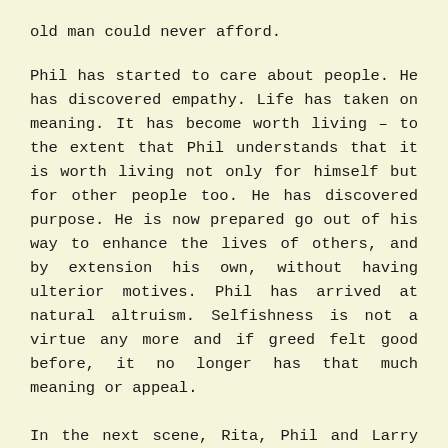old man could never afford.
Phil has started to care about people. He has discovered empathy. Life has taken on meaning. It has become worth living – to the extent that Phil understands that it is worth living not only for himself but for other people too. He has discovered purpose. He is now prepared go out of his way to enhance the lives of others, and by extension his own, without having ulterior motives. Phil has arrived at natural altruism. Selfishness is not a virtue any more and if greed felt good before, it no longer has that much meaning or appeal.
In the next scene, Rita, Phil and Larry are back at the Groundhog Day ceremony at Gobblers Knob. This time, Phil's report goes as follows: